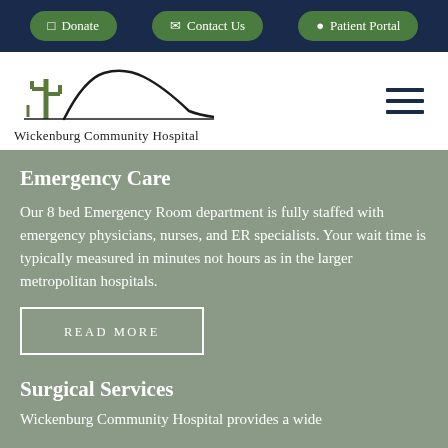Donate | Contact Us | Patient Portal
[Figure (logo): Wickenburg Community Hospital logo with saguaro cactus and mountain silhouette line drawing]
Emergency Care
Our 8 bed Emergency Room department is fully staffed with emergency physicians, nurses, and ER specialists. Your wait time is typically measured in minutes not hours as in the larger metropolitan hospitals.
READ MORE
Surgical Services
Wickenburg Community Hospital provides a wide